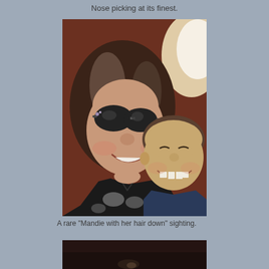Nose picking at its finest.
[Figure (photo): Selfie photo of a woman with long dark hair wearing dark sunglasses and a black and white floral top, cheek to cheek with a smiling young boy in a navy shirt, taken under a reddish-brown ceiling/overhang with bright light on the right side.]
A rare "Mandie with her hair down" sighting.
[Figure (photo): Partial view of a dark indoor scene, only the top portion visible.]